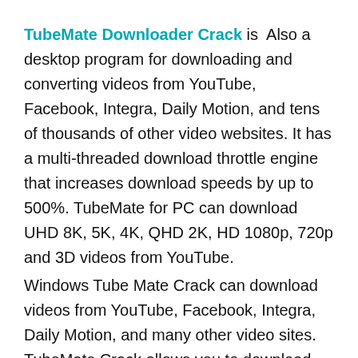TubeMate Downloader Crack is Also a desktop program for downloading and converting videos from YouTube, Facebook, Integra, Daily Motion, and tens of thousands of other video websites. It has a multi-threaded download throttle engine that increases download speeds by up to 500%. TubeMate for PC can download UHD 8K, 5K, 4K, QHD 2K, HD 1080p, 720p and 3D videos from YouTube.
Windows Tube Mate Crack can download videos from YouTube, Facebook, Integra, Daily Motion, and many other video sites. TubeMate Crack allows you to download the easiest audio stream from YouTube and keep it in mp3 format. It is not necessary to download the entire video record. A multi-threaded download speed engine that will boost your download speeds by up to 500% or